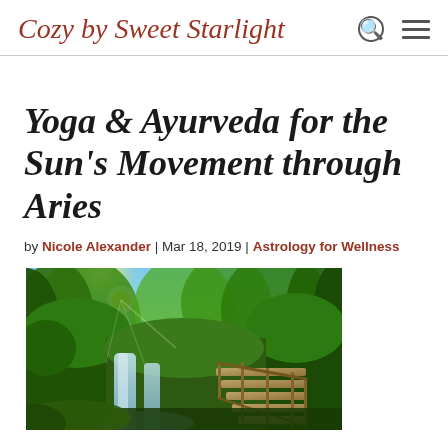Cozy by Sweet Starlight
Yoga & Ayurveda for the Sun's Movement through Aries
by Nicole Alexander | Mar 18, 2019 | Astrology for Wellness
[Figure (photo): Lush green forest with waterfall and wooden staircase pathway, sunlight streaming through trees]